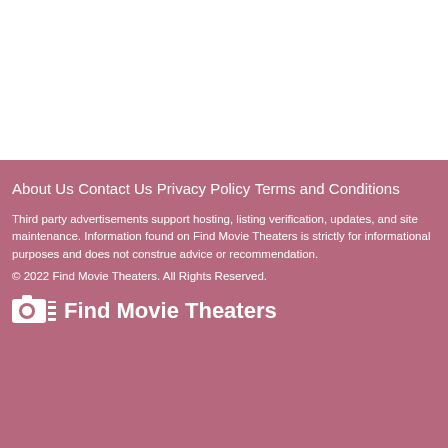About Us
Contact Us
Privacy Policy
Terms and Conditions
Third party advertisements support hosting, listing verification, updates, and site maintenance. Information found on Find Movie Theaters is strictly for informational purposes and does not construe advice or recommendation.
© 2022 Find Movie Theaters. All Rights Reserved.
Find Movie Theaters